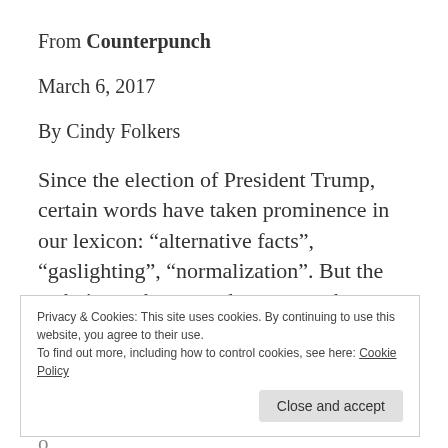From Counterpunch
March 6, 2017
By Cindy Folkers
Since the election of President Trump, certain words have taken prominence in our lexicon: “alternative facts”, “gaslighting”, “normalization”. But the techniques these words represent have been used by the nuclear
Privacy & Cookies: This site uses cookies. By continuing to use this website, you agree to their use.
To find out more, including how to control cookies, see here: Cookie Policy
Close and accept
And as we deal with the continuing fallout o